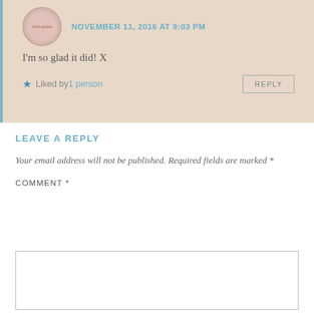NOVEMBER 11, 2016 AT 9:03 PM
I'm so glad it did! X
Liked by 1 person
REPLY
LEAVE A REPLY
Your email address will not be published. Required fields are marked *
COMMENT *